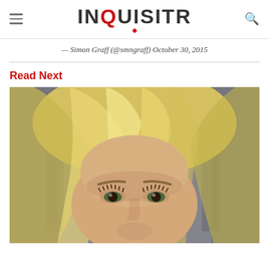INQUISITR
— Simon Graff (@smngraff) October 30, 2015
Read Next
[Figure (photo): Close-up photo of a blonde woman with green eyes and prominent eyelashes, photographed against a grey/building background]